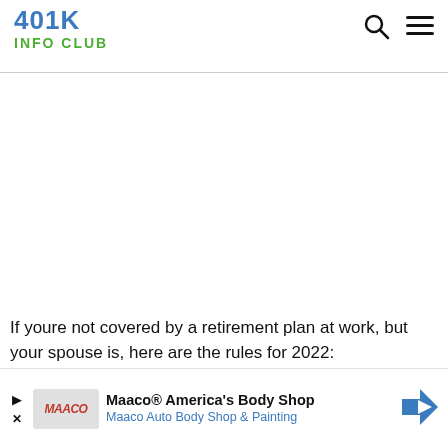401K INFO CLUB
If youre not covered by a retirement plan at work, but your spouse is, here are the rules for 2022:
[Figure (screenshot): Advertisement banner: Maaco® America's Body Shop — Maaco Auto Body Shop & Painting, with play and close controls and a blue diamond arrow logo]